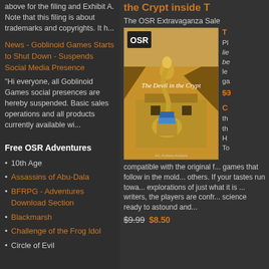above for the filing and Exhibit A. Note that this filing is about trademarks and copyrights. It h...
News - Goblinoid Games Starts to Shut Down - Suspends Social Media Presence
"Hi everyone, all Goblinoid Games social presences are hereby suspended. Basic sales operations and all products currently available wi...
Free OSR Adventures
10th Age
Assassins of Abu-Dala
BFRPG - Adventures Download Section
Blackmarsh
Challenge of the Frog Idol
Circle of Evil
the Crypt inside T
The OSR Extravaganza Sale
[Figure (illustration): Book cover for 'The Devil in the Crypt' showing an Egyptian-themed fantasy scene with a snake-headed figure and a sphinx, desert background]
compatible with the original f... games that follow in the mold... others. If your tastes run towa... explorations of just what it is ... writers, the players are confr... science ready to astound and...
$9.99  $8.50